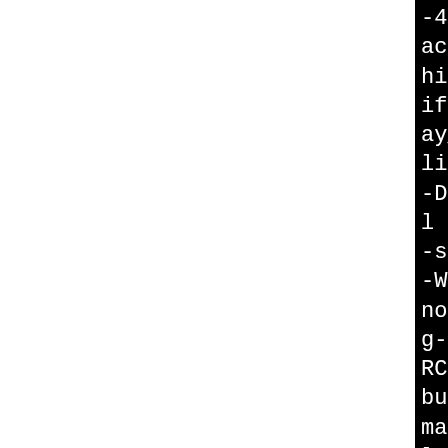-4 -fno-debug-types-section acking-assignments -g2 -MT hift.lo -MD -MP -MF .deps/ift.Tpo -c -o n_array_shi ay_shift.c libtool: compile: i486-plc -DHAVE_CONFIG_H -I. -I./in l -I./include -Wall -Wextr -security -O2 -fwrapv -pip -Werror=format-security -g no-debug-types-section -fv g-assignments -g2 -Wp,-D_F RCE=2 -fstack-protector -- buffer-size=4 -fomit-frame march=i486 -fasynchronous- les -gdwarf-4 -fno-debug-t on -fvar-tracking-assignme T n_array_shift.lo -MD -MF s/n_array_shift.Tpo -c n_a t.c -fPIC -DPIC -o .libs/n ft.o libtool: compile: i486-plc -DHAVE_CONFIG_H -I. -I./in l -I./include -Wall -Wextr